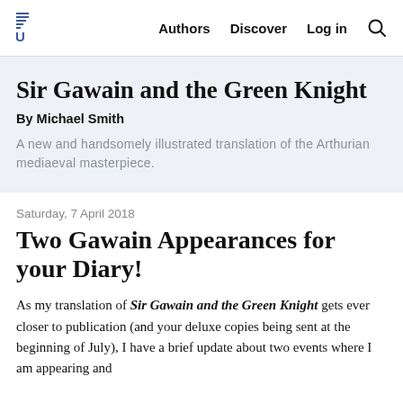Authors   Discover   Log in
Sir Gawain and the Green Knight
By Michael Smith
A new and handsomely illustrated translation of the Arthurian mediaeval masterpiece.
Saturday, 7 April 2018
Two Gawain Appearances for your Diary!
As my translation of Sir Gawain and the Green Knight gets ever closer to publication (and your deluxe copies being sent at the beginning of July), I have a brief update about two events where I am appearing and